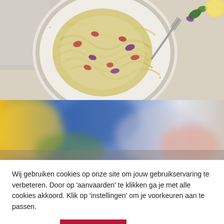[Figure (photo): Top-down view of a bowl of creamy pasta (fettuccine/tagliatelle) with bacon or pancetta pieces and purple basil, fork resting in the bowl, speckled ceramic plate, white cloth napkin, light background]
[Figure (photo): Blurred close-up of a colorful salad or food spread with yellow, blue, green, and pink/red tones — bokeh food photography]
Wij gebruiken cookies op onze site om jouw gebruikservaring te verbeteren. Door op 'aanvaarden' te klikken ga je met alle cookies akkoord. Klik op 'instellingen' om je voorkeuren aan te passen.
Instellingen
Aanvaarden